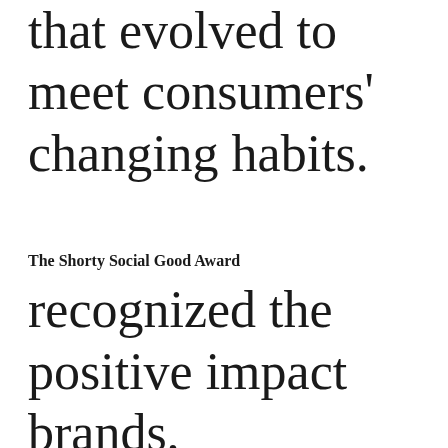that evolved to meet consumers' changing habits.
The Shorty Social Good Award recognized the positive impact brands,